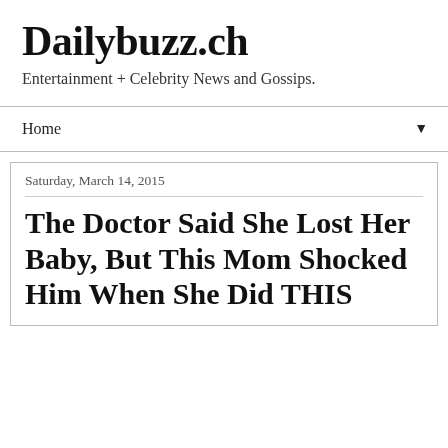Dailybuzz.ch
Entertainment + Celebrity News and Gossips.
Home ▼
Saturday, March 14, 2015
The Doctor Said She Lost Her Baby, But This Mom Shocked Him When She Did THIS